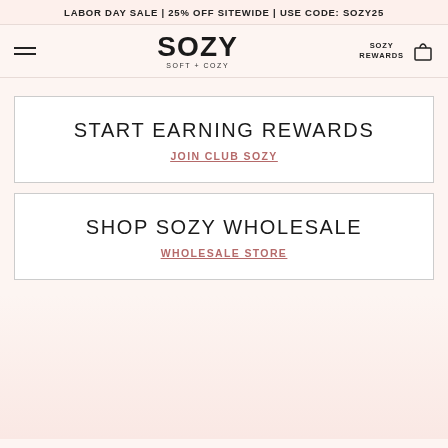LABOR DAY SALE | 25% OFF SITEWIDE | USE CODE: SOZY25
[Figure (logo): SOZY SOFT + COZY logo with hamburger menu, SOZY REWARDS text, and shopping bag icon]
START EARNING REWARDS
JOIN CLUB SOZY
SHOP SOZY WHOLESALE
WHOLESALE STORE